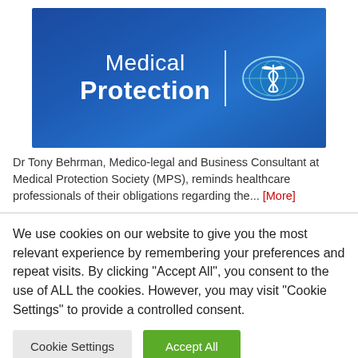[Figure (logo): Medical Protection Society logo on blue gradient background, with text 'Medical Protection' and a globe with caduceus symbol]
Dr Tony Behrman, Medico-legal and Business Consultant at Medical Protection Society (MPS), reminds healthcare professionals of their obligations regarding the... [More]
We use cookies on our website to give you the most relevant experience by remembering your preferences and repeat visits. By clicking "Accept All", you consent to the use of ALL the cookies. However, you may visit "Cookie Settings" to provide a controlled consent.
Cookie Settings  Accept All